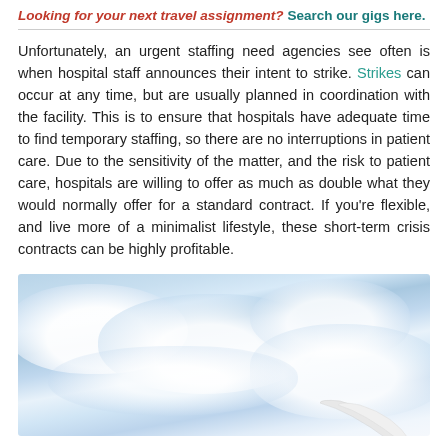Looking for your next travel assignment? Search our gigs here.
Unfortunately, an urgent staffing need agencies see often is when hospital staff announces their intent to strike. Strikes can occur at any time, but are usually planned in coordination with the facility. This is to ensure that hospitals have adequate time to find temporary staffing, so there are no interruptions in patient care. Due to the sensitivity of the matter, and the risk to patient care, hospitals are willing to offer as much as double what they would normally offer for a standard contract. If you're flexible, and live more of a minimalist lifestyle, these short-term crisis contracts can be highly profitable.
[Figure (photo): Photo of blue sky with white clouds and the tip of an airplane wing visible in the lower right corner]